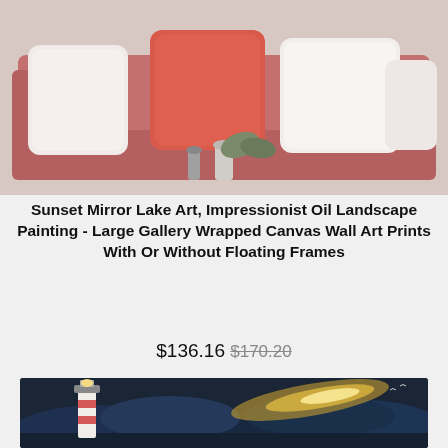[Figure (photo): Photo of a pink/rose sofa with decorative pillows (coral/red and white) in a living room setting, with small decorative items on a table in front.]
Sunset Mirror Lake Art, Impressionist Oil Landscape Painting - Large Gallery Wrapped Canvas Wall Art Prints With Or Without Floating Frames
$136.16 $170.20
[Figure (photo): Photo of a framed painting depicting a lighthouse during a dramatic stormy night sky with glowing clouds, displayed in a dark floating frame.]